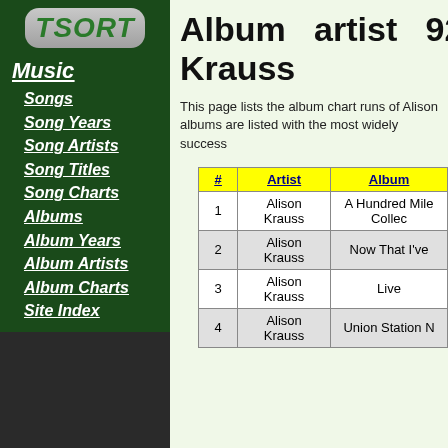[Figure (logo): TSORT logo in green italic bold text on a grey rounded rectangle background]
Music
Songs
Song Years
Song Artists
Song Titles
Song Charts
Albums
Album Years
Album Artists
Album Charts
Site Index
Album artist 923 Krauss
This page lists the album chart runs of Alison albums are listed with the most widely success
| # | Artist | Album |
| --- | --- | --- |
| 1 | Alison Krauss | A Hundred Mile Collec |
| 2 | Alison Krauss | Now That I've |
| 3 | Alison Krauss | Live |
| 4 | Alison Krauss | Union Station N |